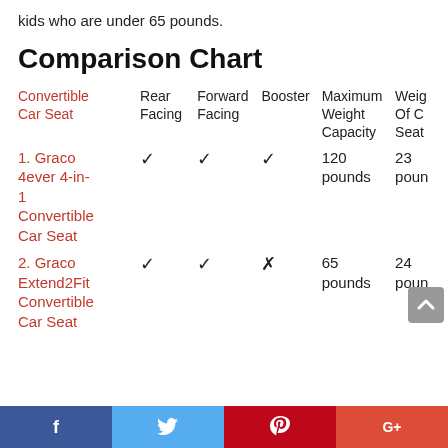kids who are under 65 pounds.
Comparison Chart
| Convertible Car Seat | Rear Facing | Forward Facing | Booster | Maximum Weight Capacity | Weight Of Car Seat |
| --- | --- | --- | --- | --- | --- |
| 1. Graco 4ever 4-in-1 Convertible Car Seat | ✓ | ✓ | ✓ | 120 pounds | 23 pounds |
| 2. Graco Extend2Fit Convertible Car Seat | ✓ | ✓ | ✗ | 65 pounds | 24 pounds |